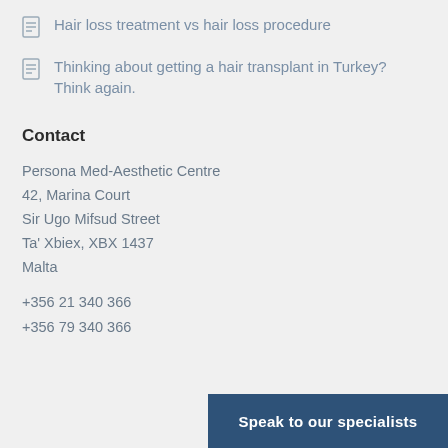Hair loss treatment vs hair loss procedure
Thinking about getting a hair transplant in Turkey? Think again.
Contact
Persona Med-Aesthetic Centre
42, Marina Court
Sir Ugo Mifsud Street
Ta' Xbiex, XBX 1437
Malta
+356 21 340 366
+356 79 340 366
Speak to our specialists